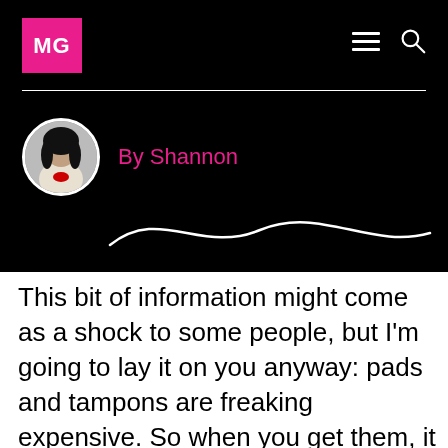MG
By Shannon
This bit of information might come as a shock to some people, but I'm going to lay it on you anyway: pads and tampons are freaking expensive. So when you get them, it would make sense that you don't waste them and use